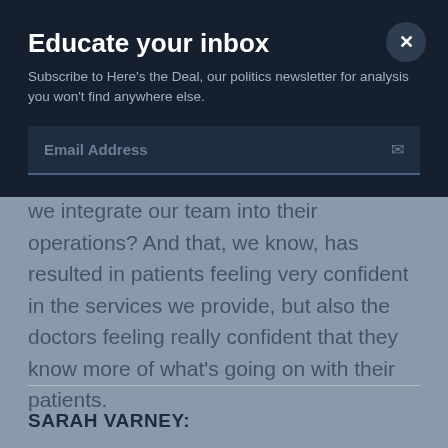Educate your inbox
Subscribe to Here's the Deal, our politics newsletter for analysis you won't find anywhere else.
Email Address
we integrate our team into their operations? And that, we know, has resulted in patients feeling very confident in the services we provide, but also the doctors feeling really confident that they know more of what's going on with their patients.
SARAH VARNEY: